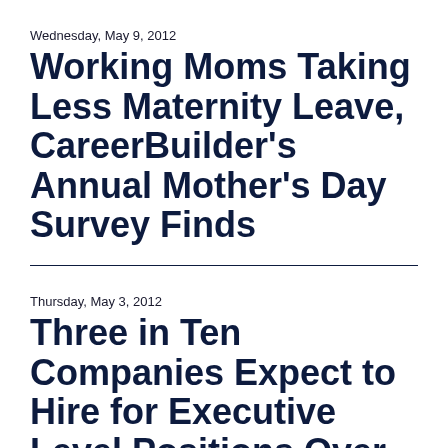Wednesday, May 9, 2012
Working Moms Taking Less Maternity Leave, CareerBuilder's Annual Mother's Day Survey Finds
Thursday, May 3, 2012
Three in Ten Companies Expect to Hire for Executive Level Positions Over Next Six Months, According to